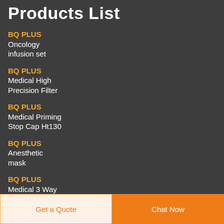Products List
BQ PLUS Oncology infusion set
BQ PLUS Medical High Precision Filter
BQ PLUS Medical Priming Stop Cap Ht130
BQ PLUS Anesthetic mask
BQ PLUS Medical 3 Way Stopcock
Get a Quote  Chat Now